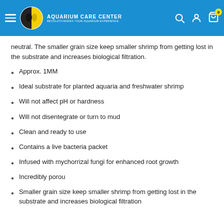AQUARIUM CARE CENTER — REVOLUTIONIZING YOUR AQUARIUM EXPERIENCE
neutral. The smaller grain size keep smaller shrimp from getting lost in the substrate and increases biological filtration.
Approx. 1MM
Ideal substrate for planted aquaria and freshwater shrimp
Will not affect pH or hardness
Will not disentegrate or turn to mud
Clean and ready to use
Contains a live bacteria packet
Infused with mychorrizal fungi for enhanced root growth
Incredibly porou
Smaller grain size keep smaller shrimp from getting lost in the substrate and increases biological filtration